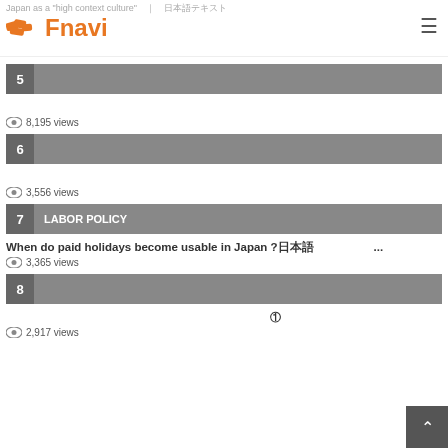Japan as a "high context culture" | Fnavi
5 　日本語タイトル
日本語の記事タイトルが入ります（長めのテキスト）
8,195 views
6 　日本語
日本語の記事タイトルテキスト スペース入り ①
3,556 views
7 LABOR POLICY
When do paid holidays become usable in Japan ?日本語テキスト...
3,365 views
8 　日本語
日本語の記事タイトルテキスト①
2,917 views